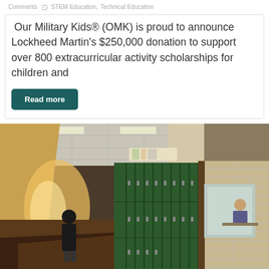Comments  ·  STEM Education, Technical Education
Our Military Kids® (OMK) is proud to announce Lockheed Martin's $250,000 donation to support over 800 extracurricular activity scholarships for children and
Read more
[Figure (photo): A school hallway with green metal lockers on the right side, a person walking away in the background toward a bright doorway on the left, tan brick walls on the right, and a person visible through a window in a side room on the far right.]